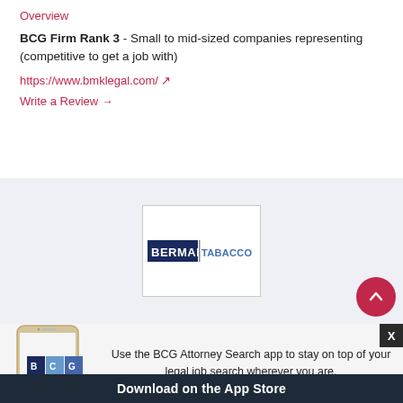Overview
BCG Firm Rank 3 - Small to mid-sized companies representing (competitive to get a job with)
https://www.bmklegal.com/ ↗
Write a Review →
[Figure (logo): Berman Tabacco law firm logo — 'BERMAN' in dark navy bold, 'TABACCO' in medium blue, inside a white box with border]
[Figure (photo): BCG Attorney Search mobile app advertisement — smartphone showing BCG logo, text: Use the BCG Attorney Search app to stay on top of your legal job search wherever you are. Download on the App Store.]
Use the BCG Attorney Search app to stay on top of your legal job search wherever you are.
Download on the App Store